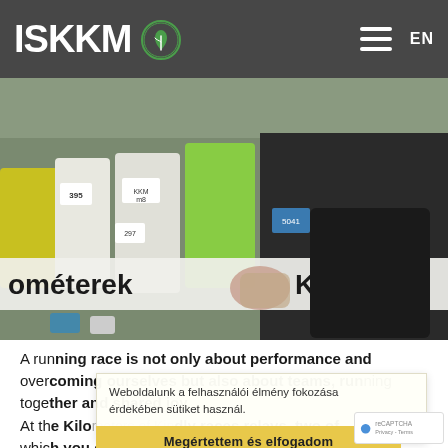ISKKM EN
[Figure (photo): Group of runners at a race start line, holding a banner. Visible text on banner: 'ométerek' and 'Kes'. Runners wearing race bibs including numbers 395, 297, 5041. Some wearing KKM branded shirts.]
A running race is not only about performance and overcoming ourselves but also about teams, running together and shared joy.
At the Kilometers of Kindly races relays, two of which you can choose from, are becoming more popular.
Weboldalunk a felhasználói élmény fokozása érdekében sütiket használ.
Részletes információkhoz
Megértettem és elfogadom
Almost half marathon for teams of two: 2 persons